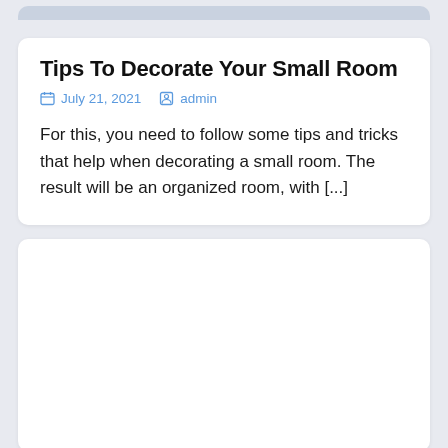Tips To Decorate Your Small Room
July 21, 2021   admin
For this, you need to follow some tips and tricks that help when decorating a small room. The result will be an organized room, with [...]